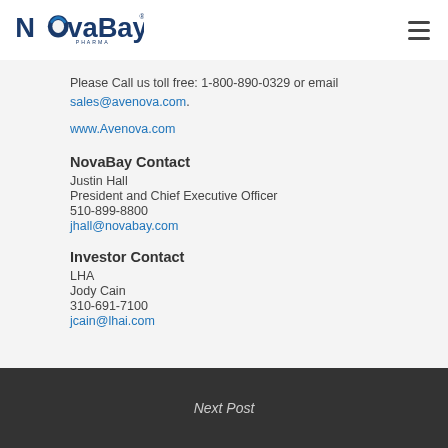[Figure (logo): NovaBay Pharma logo in dark blue]
Please Call us toll free: 1-800-890-0329 or email sales@avenova.com.
www.Avenova.com
NovaBay Contact
Justin Hall
President and Chief Executive Officer
510-899-8800
jhall@novabay.com
Investor Contact
LHA
Jody Cain
310-691-7100
jcain@lhai.com
Next Post